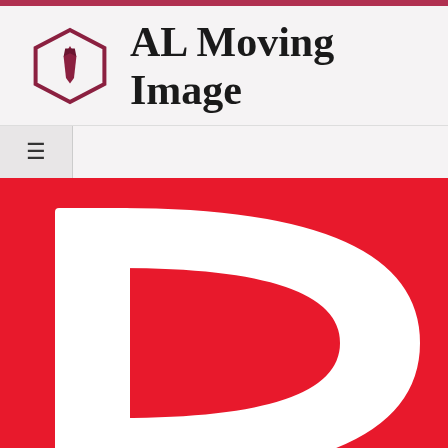[Figure (logo): AL Moving Image website header with hexagonal logo icon containing a tie graphic, and site title text 'AL Moving Image']
[Figure (screenshot): Navigation bar with hamburger menu icon (three horizontal lines) on left side]
[Figure (illustration): Large red background with oversized white letter 'D' in serif font, cropped — appears to be part of a website thumbnail or article image]